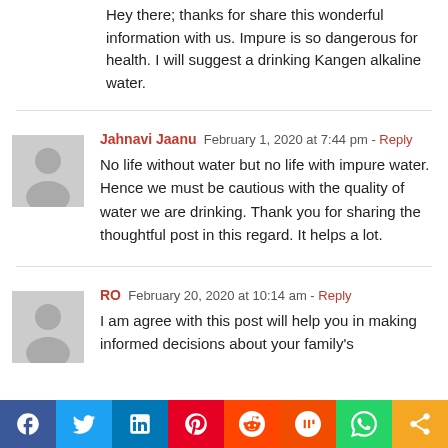Hey there; thanks for share this wonderful information with us. Impure is so dangerous for health. I will suggest a drinking Kangen alkaline water.
Jahnavi Jaanu  February 1, 2020 at 7:44 pm - Reply
No life without water but no life with impure water. Hence we must be cautious with the quality of water we are drinking. Thank you for sharing the thoughtful post in this regard. It helps a lot.
RO  February 20, 2020 at 10:14 am - Reply
I am agree with this post will help you in making informed decisions about your family's